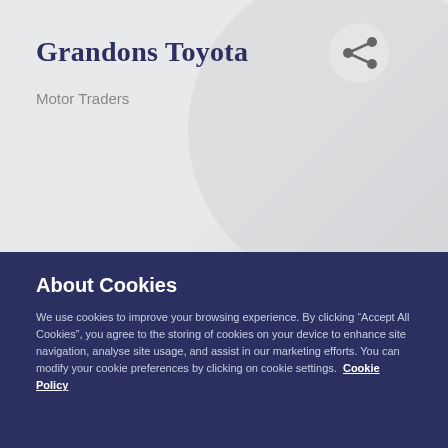Grandons Toyota
Motor Traders
[Figure (illustration): Share icon inside a circle on a light grey background with decorative large circle element]
About Cookies
We use cookies to improve your browsing experience. By clicking “Accept All Cookies”, you agree to the storing of cookies on your device to enhance site navigation, analyse site usage, and assist in our marketing efforts. You can modify your cookie preferences by clicking on cookie settings.  Cookie Policy